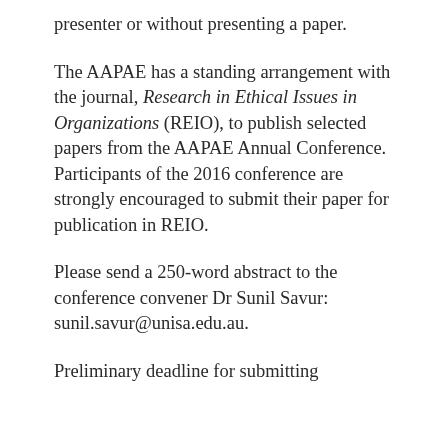presenter or without presenting a paper.
The AAPAE has a standing arrangement with the journal, Research in Ethical Issues in Organizations (REIO), to publish selected papers from the AAPAE Annual Conference. Participants of the 2016 conference are strongly encouraged to submit their paper for publication in REIO.
Please send a 250-word abstract to the conference convener Dr Sunil Savur: sunil.savur@unisa.edu.au.
Preliminary deadline for submitting